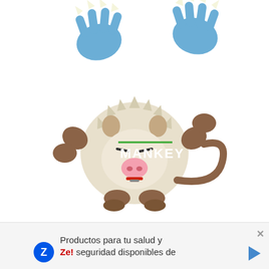[Figure (illustration): Mankey Pokemon illustration showing the pig monkey creature with raised fists and blue clawed hands floating above, with a green underline and white MANKEY text label overlaid on the image]
Productos para tu salud y seguridad disponibles de